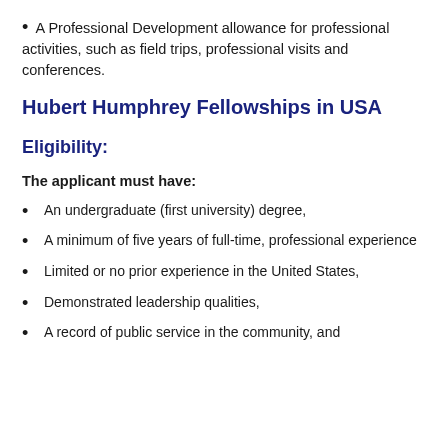A Professional Development allowance for professional activities, such as field trips, professional visits and conferences.
Hubert Humphrey Fellowships in USA
Eligibility:
The applicant must have:
An undergraduate (first university) degree,
A minimum of five years of full-time, professional experience
Limited or no prior experience in the United States,
Demonstrated leadership qualities,
A record of public service in the community, and